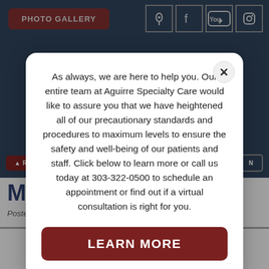PHOTO GALLERY
As always, we are here to help you. Our entire team at Aguirre Specialty Care would like to assure you that we have heightened all of our precautionary standards and procedures to maximum levels to ensure the safety and well-being of our patients and staff. Click below to learn more or call us today at 303-322-0500 to schedule an appointment or find out if a virtual consultation is right for you.
LEARN MORE
M.J...
Posted June 1, 2012.